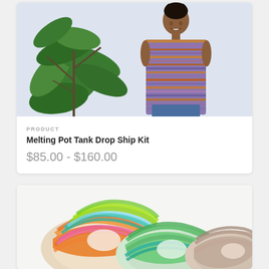[Figure (photo): Woman wearing a hand-knit sleeveless tank top with multicolor horizontal stripes in purple, red, orange, and brown tones, standing next to a large green houseplant against a white background.]
PRODUCT
Melting Pot Tank Drop Ship Kit
$85.00 - $160.00
[Figure (photo): Three skeins of colorful hand-dyed yarn arranged together. One skein is multicolor with orange, pink, teal, and green. Another is green and teal tones. The third is muted pink/brown tones.]